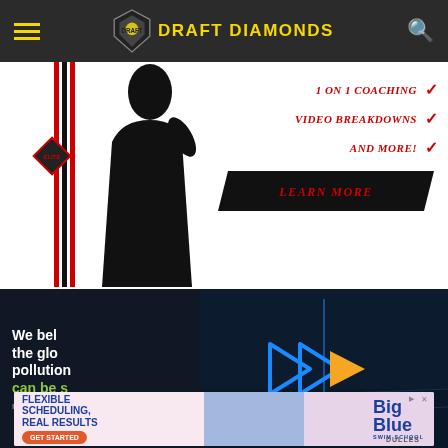Draft Diamonds
[Figure (illustration): Draft Diamonds coaching advertisement with silhouette athlete, ELITE badge, vertical red/black stripes, and coaching services list: 1 on 1 Coaching, Video Breakdowns, And More! with Learn More button]
[Figure (screenshot): Video player showing text 'We believe the global pollution can be solved' with green text and play button on dark background with stadium blurred behind]
[Figure (advertisement): Big Blue Swim School ad: FLEXIBLE SCHEDULING, REAL RESULTS with GET STARTED button, swimmer photo, Big Blue logo, DULLES location]